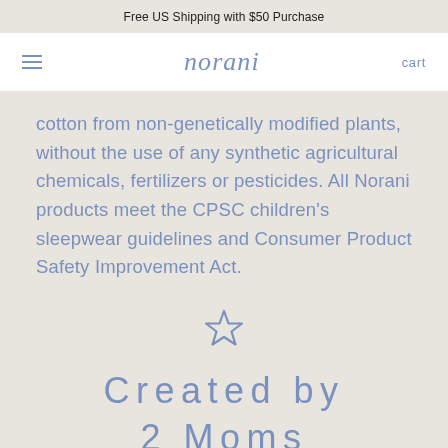Free US Shipping with $50 Purchase
norani  cart
cotton from non-genetically modified plants, without the use of any synthetic agricultural chemicals, fertilizers or pesticides. All Norani products meet the CPSC children's sleepwear guidelines and Consumer Product Safety Improvement Act.
[Figure (illustration): Outline star icon in blue-grey color]
Created by 2 Moms
Our swaddle is tried and tested, and